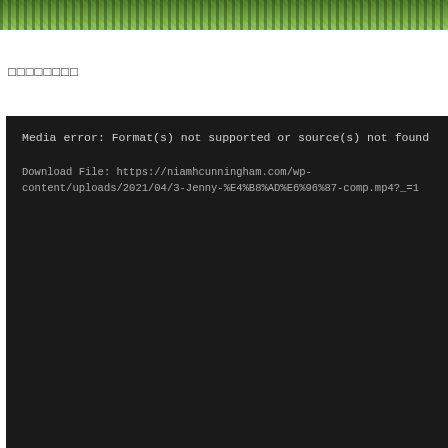[Figure (photo): Green leafy plant/foliage photograph strip at top of page]
□□□□□□□□
[Figure (screenshot): Media error panel with dark background showing error message: 'Media error: Format(s) not supported or source(s) not found' and download file URL: https://niamhcunningham.com/wp-content/uploads/2021/04/3-Jenny-%E4%B8%AD%E6%96%87-comp.mp4?_=1]